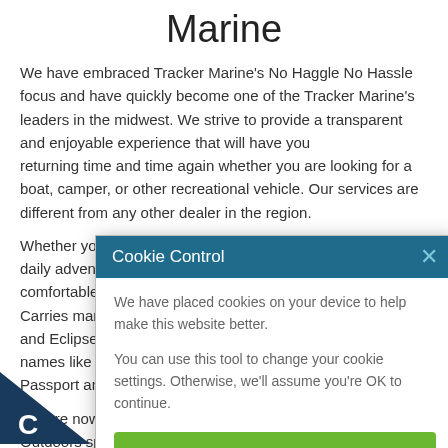Marine
We have embraced Tracker Marine's No Haggle No Hassle focus and have quickly become one of the Tracker Marine's leaders in the midwest. We strive to provide a transparent and enjoyable experience that will have you returning time and time again whether you are looking for a boat, camper, or other recreational vehicle. Our services are different from any other dealer in the region.
Whether you are taking it easy on the water or your daily adventure begins with a hitch, quality and comfortable products are what you need. Benson RV Carries many top of the line RV Brands. Fleetwood, Crossroads, and Eclipse offer something for everyone from quality brand names like Salem, Surveyor, GeoPro, MiniLite, and Passport among many. Also Toy Haulers.
[Figure (screenshot): Cookie Control modal dialog overlay on webpage. Header in teal/dark blue with 'Cookie Control' title and an X close button. Body text: 'We have placed cookies on your device to help make this website better. You can use this tool to change your cookie settings. Otherwise, we'll assume you're OK to continue.' Green button labeled "I'm fine with this". Links: 'Information and Settings' and 'About our cookies' with external link icon.]
We are now North Dakota's Yetti Outdoors Dealer. Yetti Outdoors specializes in premium all-aluminum fish houses. Whether you are a die-hard angler, hunter, or just need a year-